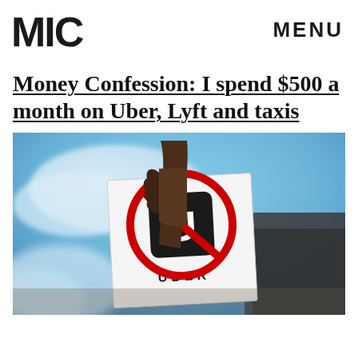MIC   MENU
Money Confession: I spend $500 a month on Uber, Lyft and taxis
[Figure (photo): A hand holding up a paper sign showing the Uber logo with a red 'no' symbol (circle with a diagonal line) over it, photographed against a blue sky background.]